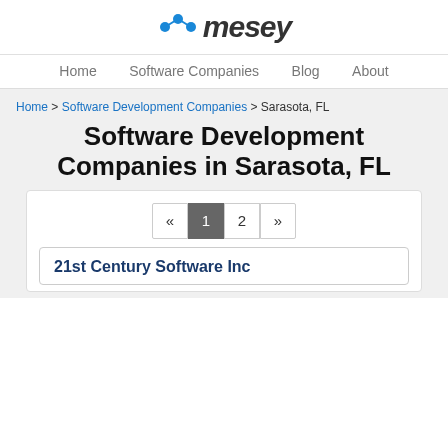mesey
Home  Software Companies  Blog  About
Home > Software Development Companies > Sarasota, FL
Software Development Companies in Sarasota, FL
« 1 2 »
21st Century Software Inc